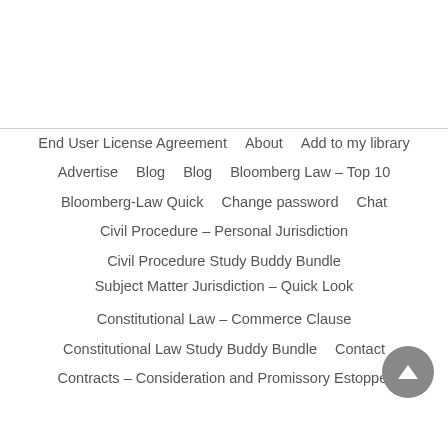End User License Agreement
About
Add to my library
Advertise
Blog
Blog
Bloomberg Law – Top 10
Bloomberg-Law Quick
Change password
Chat
Civil Procedure – Personal Jurisdiction
Civil Procedure Study Buddy Bundle
Subject Matter Jurisdiction – Quick Look
Constitutional Law – Commerce Clause
Constitutional Law Study Buddy Bundle
Contact
Contracts – Consideration and Promissory Estoppel